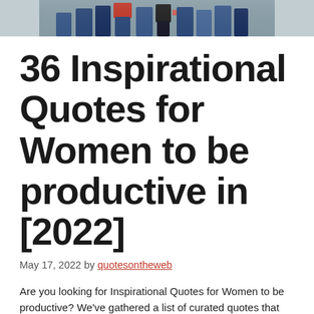[Figure (photo): A cropped photo showing the lower bodies of a group of people standing together, wearing jeans and colorful tops including red and black.]
36 Inspirational Quotes for Women to be productive in [2022]
May 17, 2022 by quotesontheweb
Are you looking for Inspirational Quotes for Women to be productive? We've gathered a list of curated quotes that will inspire you for a...